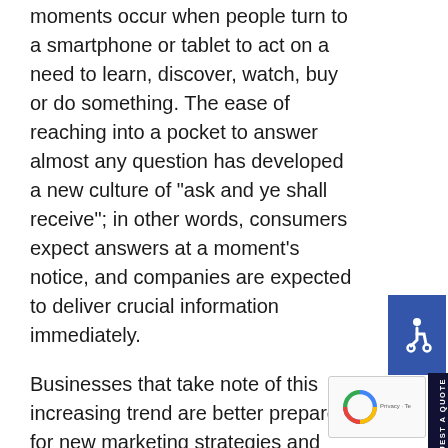moments occur when people turn to a smartphone or tablet to act on a need to learn, discover, watch, buy or do something. The ease of reaching into a pocket to answer almost any question has developed a new culture of “ask and ye shall receive”; in other words, consumers expect answers at a moment’s notice, and companies are expected to deliver crucial information immediately.
Businesses that take note of this increasing trend are better prepared for new marketing strategies and solutions that reflect the way Americans consume media.
Mobile Marketing and its Influence
E-commerce and digital marketing have explo...